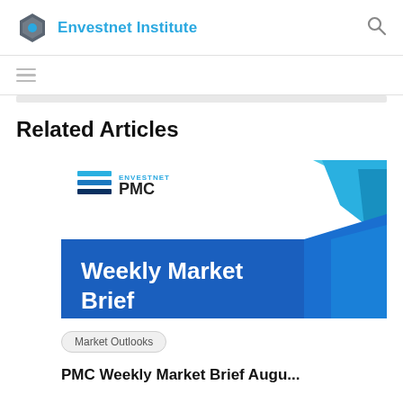Envestnet Institute
[Figure (logo): Envestnet PMC Weekly Market Brief branded image with blue geometric shapes and white bold text on blue bar]
Related Articles
Market Outlooks
PMC Weekly Market Brief August